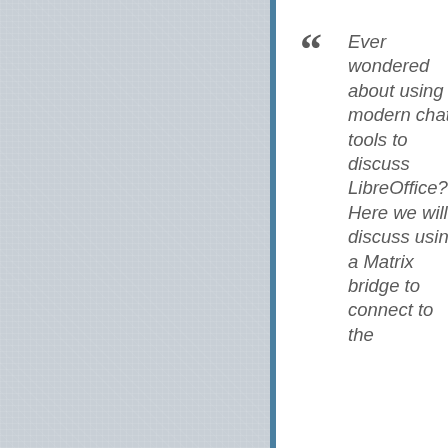[Figure (illustration): Light blue-grey textured linen background filling the left two-thirds of the page, with a vertical steel-blue bar separator.]
Ever wondered about using modern chat tools to discuss LibreOffice? Here we will discuss using a Matrix bridge to connect to the